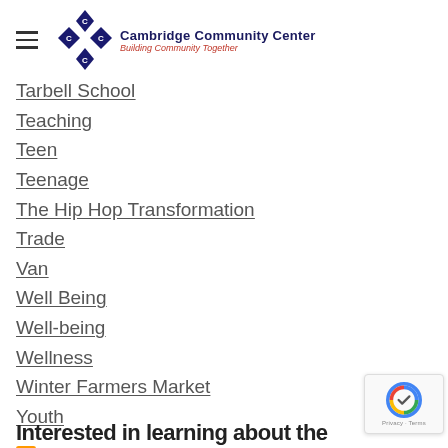Cambridge Community Center — Building Community Together
Tarbell School
Teaching
Teen
Teenage
The Hip Hop Transformation
Trade
Van
Well Being
Well-being
Wellness
Winter Farmers Market
Youth
RSS Feed
Interested in learning about the